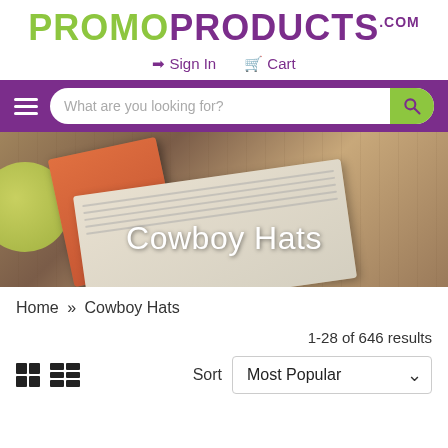[Figure (logo): PromoProducts.com logo with PROMO in green and PRODUCTS in purple, uppercase bold text]
→) Sign In   🛒 Cart
[Figure (screenshot): Purple navigation bar with hamburger menu icon and search bar saying 'What are you looking for?' with green search button]
[Figure (photo): Hero banner photo of a notebook, pen, and green cup on a wooden table with 'Cowboy Hats' title overlay]
Home » Cowboy Hats
1-28 of 646 results
Sort   Most Popular ∨